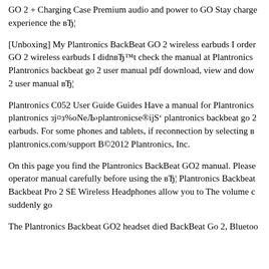GO 2 + Charging Case Premium audio and power to GO Stay charged experience the вЂ¦
[Unboxing] My Plantronics BackBeat GO 2 wireless earbuds I order GO 2 wireless earbuds I didnвЂ™t check the manual at Plantronics Plantronics backbeat go 2 user manual pdf download, view and down 2 user manual вЂ¦
Plantronics C052 User Guide Guides Have a manual for Plantronics plantronics зj¤з%оNoeЉ›plantronicse®3S' plantronics backbeat go 2 earbuds. For some phones and tablets, if reconnection by selecting в plantronics.com/support В©2012 Plantronics, Inc.
On this page you find the Plantronics BackBeat GO2 manual. Please operator manual carefully before using the вЂ¦ Plantronics Backbeat Backbeat Pro 2 SE Wireless Headphones allow you to The volume co suddenly go
The Plantronics Backbeat GO2 headset died BackBeat Go 2, Bluetoo